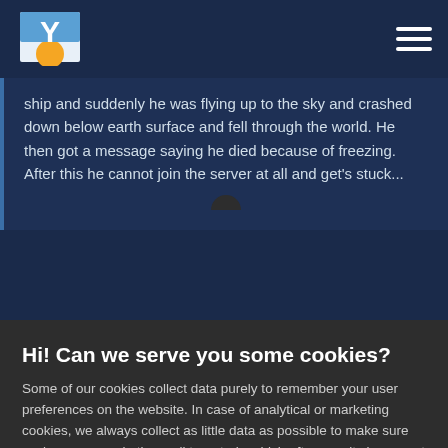[Figure (logo): Bohemia Interactive / DayZ logo - colorful Y letter with orange circle on dark background]
ship and suddenly he was flying up to the sky and crashed down below earth surface and fell through the world. He then got a message saying he died because of freezing. After this he cannot join the server at all and get's stuck...
Hi! Can we serve you some cookies?
Some of our cookies collect data purely to remember your user preferences on the website. In case of analytical or marketing cookies, we always collect as little data as possible to make sure we keep our marketing well targeted - which often results in you not being spammed by any of our ads at all. We're also never looking at data about you in particular, everything at Bohemia is analyzed in an aggregated form. Learn more
Allow all cookies
I want more options